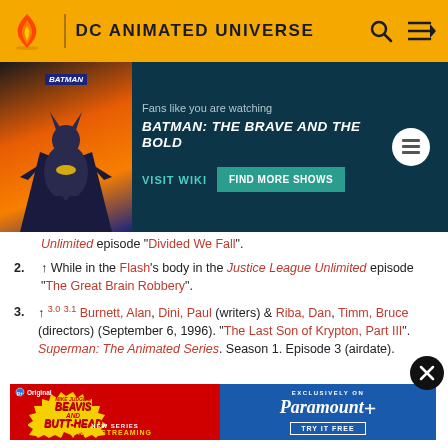DC ANIMATED UNIVERSE
[Figure (screenshot): DC Animated Universe wiki header with flame logo, gold background, search and menu icons]
[Figure (screenshot): Batman: The Brave and the Bold promotional banner with visit wiki and find more shows buttons]
Unlimited episode "Divided We Fall".
2. ↑ While in the Flash's body in the Justice League Unlimited episode "The Great Brain Robbery".
3. ↑ 3.0 3.1 Burnett, Alan, Dini, Paul (writers) & Riba, Dan, Timm, Bruce (directors) (September 6, 1996). "The Last Son of Krypton, Part III". Superman: The Animated Series. Season 1. Episode 3 (airdate).
[Figure (screenshot): Paramount+ advertisement featuring Mike Judge's Beavis and Butt-Head New Series Now Streaming, Exclusively on Paramount+ Try It Free]
5. ↑ Berkowitz, Stan (writer) & Lukic, Butch (director)